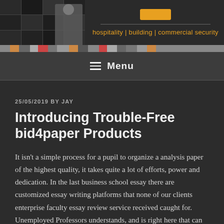[Figure (screenshot): Website header banner with security monitoring imagery (person at monitors) and orange logo, tagline reading 'hospitality | building | commercial security']
≡ Menu
25/05/2019 BY JAY
Introducing Trouble-Free bid4paper Products
It isn't a simple process for a pupil to organize a analysis paper of the highest quality, it takes quite a lot of efforts, power and dedication. In the last business school essay there are customized essay writing platforms that none of our clients enterprise faculty essay review service received caught for. Unemployed Professors understands, and is right here that can assist you increase the percentages that your investment will